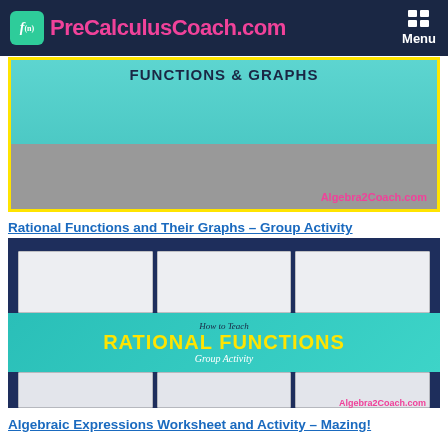PreCalculusCoach.com  Menu
[Figure (illustration): Functions & Graphs educational graphic with road/map illustration and Algebra2Coach.com branding]
Rational Functions and Their Graphs – Group Activity
[Figure (illustration): How to Teach Rational Functions Group Activity product image showing worksheets and teal banner with yellow text, Algebra2Coach.com branding]
Algebraic Expressions Worksheet and Activity – Mazing!